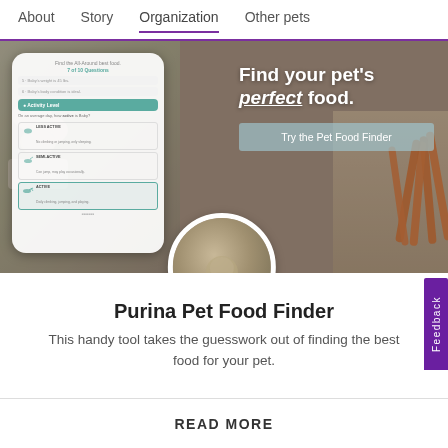About    Story    Organization    Other pets
[Figure (screenshot): Hero banner showing a phone with Pet Food Finder quiz interface on the left, headline 'Find your pet's perfect food.' with 'Try the Pet Food Finder' button on the right, background showing food ingredients, with a circular cat photo at the bottom center]
Purina Pet Food Finder
This handy tool takes the guesswork out of finding the best food for your pet.
READ MORE